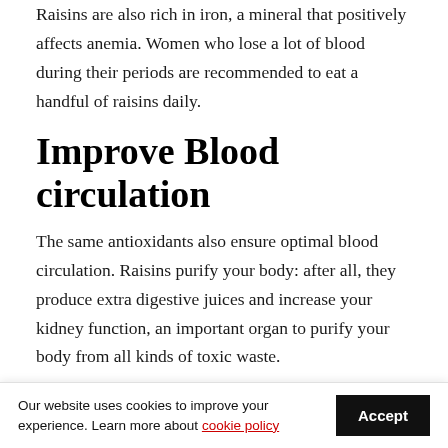Raisins are also rich in iron, a mineral that positively affects anemia. Women who lose a lot of blood during their periods are recommended to eat a handful of raisins daily.
Improve Blood circulation
The same antioxidants also ensure optimal blood circulation. Raisins purify your body: after all, they produce extra digestive juices and increase your kidney function, an important organ to purify your body from all kinds of toxic waste.
physical and mental health. A healthy intestinal flora
Our website uses cookies to improve your experience. Learn more about cookie policy